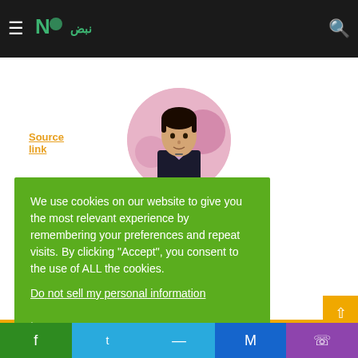Navigation bar with hamburger menu, logo, and search icon
Source link
[Figure (photo): Circular profile photo of a young man in a dark vest over a light shirt, on a pink/colorful background]
We use cookies on our website to give you the most relevant experience by remembering your preferences and repeat visits. By clicking “Accept”, you consent to the use of ALL the cookies.
Do not sell my personal information.
Cookie settings   ACCEPT